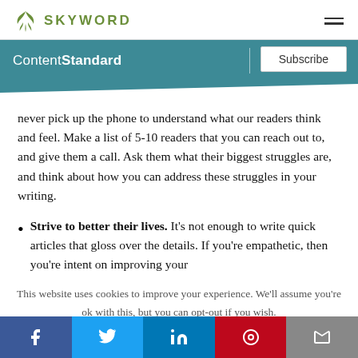SKYWORD
ContentStandard | Subscribe
never pick up the phone to understand what our readers think and feel. Make a list of 5-10 readers that you can reach out to, and give them a call. Ask them what their biggest struggles are, and think about how you can address these struggles in your writing.
Strive to better their lives. It's not enough to write quick articles that gloss over the details. If you're empathetic, then you're intent on improving your
This website uses cookies to improve your experience. We'll assume you're ok with this, but you can opt-out if you wish.
f | Twitter | in | Pinterest | Email